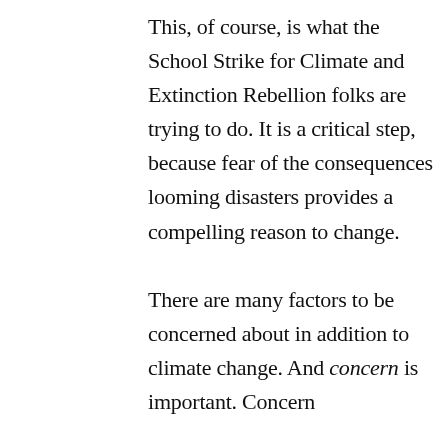This, of course, is what the School Strike for Climate and Extinction Rebellion folks are trying to do. It is a critical step, because fear of the consequences looming disasters provides a compelling reason to change.

There are many factors to be concerned about in addition to climate change. And concern is important. Concern